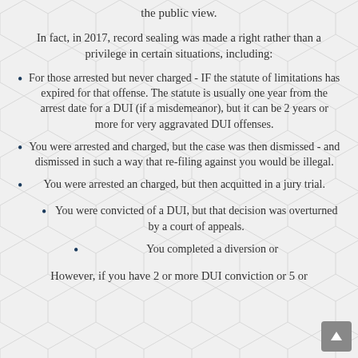the public view.
In fact, in 2017, record sealing was made a right rather than a privilege in certain situations, including:
For those arrested but never charged - IF the statute of limitations has expired for that offense. The statute is usually one year from the arrest date for a DUI (if a misdemeanor), but it can be 2 years or more for very aggravated DUI offenses.
You were arrested and charged, but the case was then dismissed - and dismissed in such a way that re-filing against you would be illegal.
You were arrested an charged, but then acquitted in a jury trial.
You were convicted of a DUI, but that decision was overturned by a court of appeals.
You completed a diversion or
However, if you have 2 or more DUI conviction or 5 or